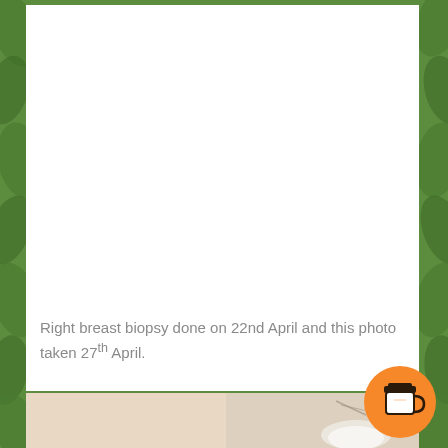[Figure (photo): Green leafy plant background with white rectangular content area in center]
Right breast biopsy done on 22nd April and this photo taken 27th April.
[Figure (photo): Close-up photo of skin showing biopsy site on right breast, taken 5 days after the procedure. Skin appears pale/beige with some markings visible.]
[Figure (illustration): Orange circular button with coffee cup icon (Buy Me a Coffee widget)]